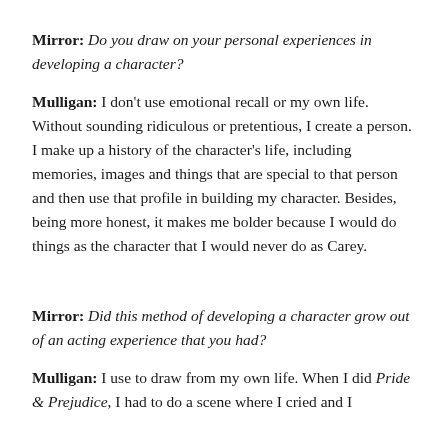Mirror: Do you draw on your personal experiences in developing a character?
Mulligan: I don't use emotional recall or my own life. Without sounding ridiculous or pretentious, I create a person. I make up a history of the character's life, including memories, images and things that are special to that person and then use that profile in building my character. Besides, being more honest, it makes me bolder because I would do things as the character that I would never do as Carey.
Mirror: Did this method of developing a character grow out of an acting experience that you had?
Mulligan: I use to draw from my own life. When I did Pride & Prejudice, I had to do a scene where I cried and I